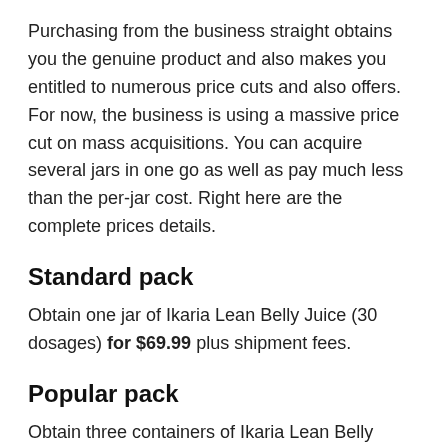Purchasing from the business straight obtains you the genuine product and also makes you entitled to numerous price cuts and also offers. For now, the business is using a massive price cut on mass acquisitions. You can acquire several jars in one go as well as pay much less than the per-jar cost. Right here are the complete prices details.
Standard pack
Obtain one jar of Ikaria Lean Belly Juice (30 dosages) for $69.99 plus shipment fees.
Popular pack
Obtain three containers of Ikaria Lean Belly Juice